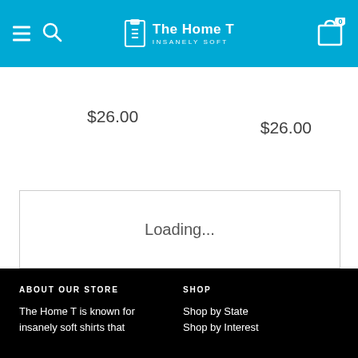The Home T — INSANELY SOFT — navigation header with hamburger, search, logo, and cart (0 items)
$26.00
$26.00
Loading...
ABOUT OUR STORE
The Home T is known for insanely soft shirts that
SHOP
Shop by State
Shop by Interest